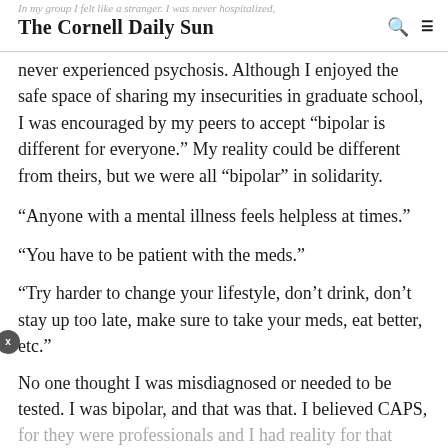The Cornell Daily Sun
never experienced psychosis. Although I enjoyed the safe space of sharing my insecurities in graduate school, I was encouraged by my peers to accept “bipolar is different for everyone.” My reality could be different from theirs, but we were all “bipolar” in solidarity.
“Anyone with a mental illness feels helpless at times.”
“You have to be patient with the meds.”
“Try harder to change your lifestyle, don’t drink, don’t stay up too late, make sure to take your meds, eat better, etc.”
No one thought I was misdiagnosed or needed to be tested. I was bipolar, and that was that. I believed CAPS,